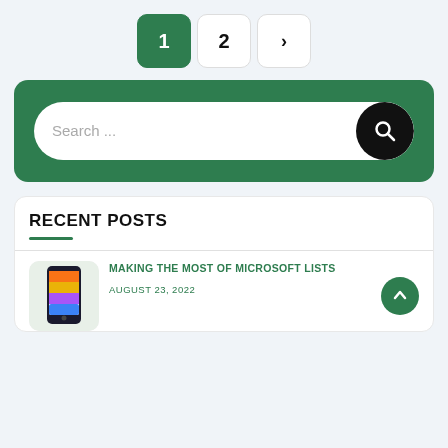1 (current page)
2
>
[Figure (screenshot): Search bar with green background and black search button with magnifying glass icon. Placeholder text: Search ...]
RECENT POSTS
[Figure (illustration): Smartphone illustration with colorful app icons screen]
MAKING THE MOST OF MICROSOFT LISTS
AUGUST 23, 2022